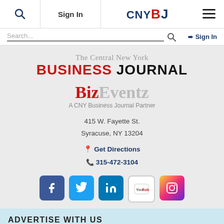Sign In | CNYBJ The Central New York Business Journal
Search...
[Figure (logo): The Central New York BUSINESS JOURNAL logo with BizEventz - A CNY Business Journal Partner]
415 W. Fayette St.
Syracuse, NY 13204
Get Directions
315-472-3104
[Figure (infographic): Social media icons: Facebook, Twitter, LinkedIn, YouTube, Instagram]
ADVERTISE WITH US